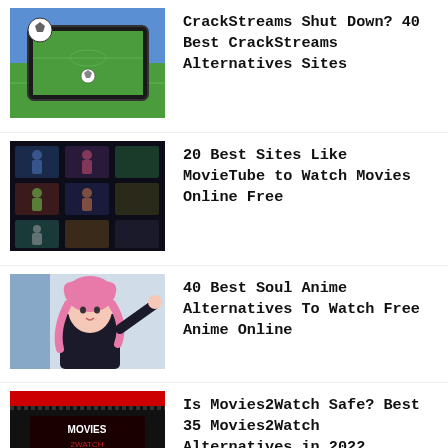[Figure (screenshot): Soccer streaming on a tablet - football field with ball displayed on device screen]
CrackStreams Shut Down? 40 Best CrackStreams Alternatives Sites
[Figure (screenshot): Movie streaming site grid with multiple movie thumbnails on dark background]
20 Best Sites Like MovieTube to Watch Movies Online Free
[Figure (illustration): Anime character - pink haired girl in dark outfit against light background]
40 Best Soul Anime Alternatives To Watch Free Anime Online
[Figure (screenshot): Movies2Watch website screenshot with red banner and logo, two stacked images]
Is Movies2Watch Safe? Best 35 Movies2Watch Alternatives in 2022
25 Best BatmanStream Alternatives To Watch LIVE Sports
Putlocker Alternatives – 35 Best